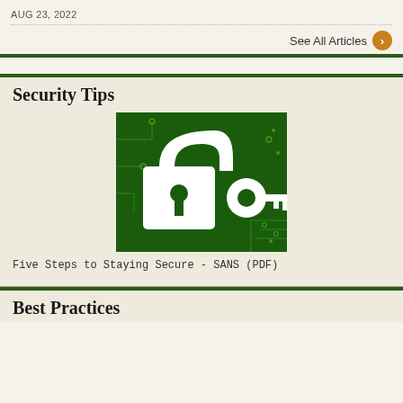AUG 23, 2022
See All Articles
Security Tips
[Figure (illustration): Dark green square image with white padlock and key icons overlaid on a circuit board pattern background]
Five Steps to Staying Secure - SANS (PDF)
Best Practices